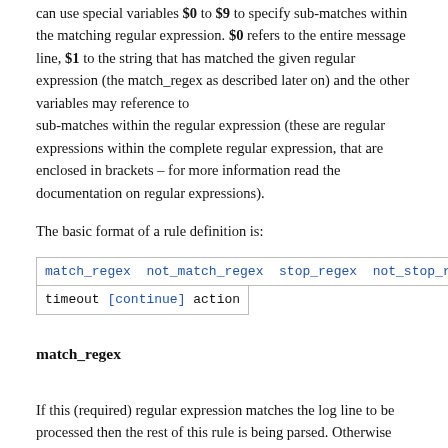can use special variables $0 to $9 to specify sub-matches within the matching regular expression. $0 refers to the entire message line, $1 to the string that has matched the given regular expression (the match_regex as described later on) and the other variables may reference to sub-matches within the regular expression (these are regular expressions within the complete regular expression, that are enclosed in brackets – for more information read the documentation on regular expressions).
The basic format of a rule definition is:
match_regex not_match_regex stop_regex not_stop_regex timeout [continue] action
match_regex
If this (required) regular expression matches the log line to be processed then the rest of this rule is being parsed. Otherwise the log line does not match this rule and Logsurfer tries to find another